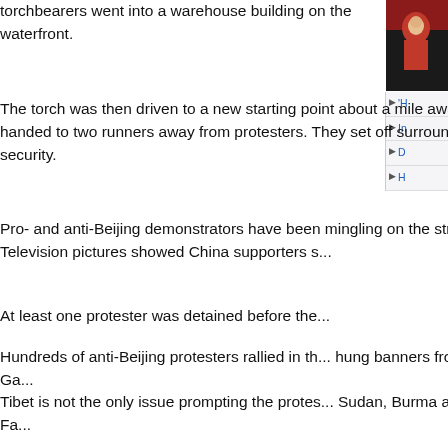torchbearers went into a warehouse building on the waterfront.
The torch was then driven to a new starting point about a mile away, where it was handed to two runners away from protesters. They set off surrounded by heavy security.
Pro- and anti-Beijing demonstrators have been mingling on the streets all day, pro... Television pictures showed China supporters s...
At least one protester was detained before the...
Hundreds of anti-Beijing protesters rallied in th... hung banners from the city's famed Golden Ga...
Tibet is not the only issue prompting the protes... Sudan, Burma and members of the banned Fa... also being opposed.
Officials in Beijing have condemned the disrup... torch so far - but promised that the procession...
Bush call
However, correspondents say more trouble sa...
[Figure (photo): Photo of torch relay event, person in red costume visible]
'H...
In...
D...
H...